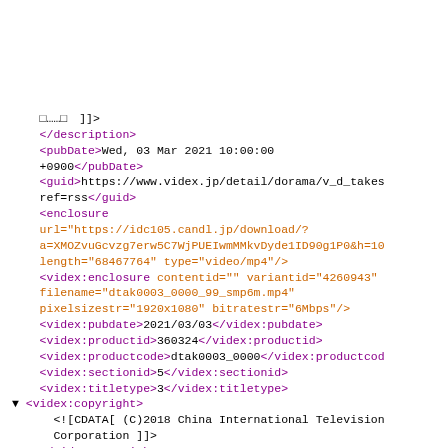（Japanese placeholder text lines）
□……□　]]>
</description>
<pubDate>Wed, 03 Mar 2021 10:00:00 +0900</pubDate>
<guid>https://www.videx.jp/detail/dorama/v_d_takes ref=rss</guid>
<enclosure url="https://idc105.candl.jp/download/?a=XMOZvuGcvzg7erw5C7WjPUEIwmMMkvDyde1ID90g1P0&h=10 length="68467764" type="video/mp4"/>
<videx:enclosure contentid="" variantid="4260943" filename="dtak0003_0000_99_smp6m.mp4" pixelsizestr="1920x1080" bitratestr="6Mbps"/>
<videx:pubdate>2021/03/03</videx:pubdate>
<videx:productid>360324</videx:productid>
<videx:productcode>dtak0003_0000</videx:productcode>
<videx:sectionid>5</videx:sectionid>
<videx:titletype>3</videx:titletype>
▼ <videx:copyright>
  <![CDATA[ (C)2018 China International Television Corporation ]]>
</videx:copyright>
<videx:thumbnailimageurl>https://img.videx.jp/imag
<videx:productimageur>https://img.videx.jp/image